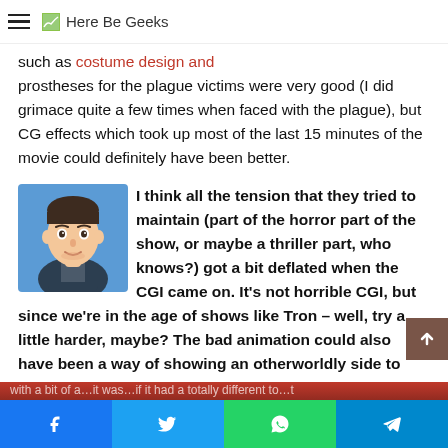Here Be Geeks
such as costume design and prostheses for the plague victims were very good (I did grimace quite a few times when faced with the plague), but CG effects which took up most of the last 15 minutes of the movie could definitely have been better.
[Figure (illustration): Animated cartoon avatar of a man with dark hair, wearing a dark jacket, blue background — a 3D rendered character portrait]
I think all the tension that they tried to maintain (part of the horror part of the show, or maybe a thriller part, who knows?) got a bit deflated when the CGI came on. It's not horrible CGI, but since we're in the age of shows like Tron – well, try a little harder, maybe? The bad animation could also have been a way of showing an otherworldly side to everything, but it's more likely just smacks of bad motion capture or lazy computer use. The voice for the animated character could also have done